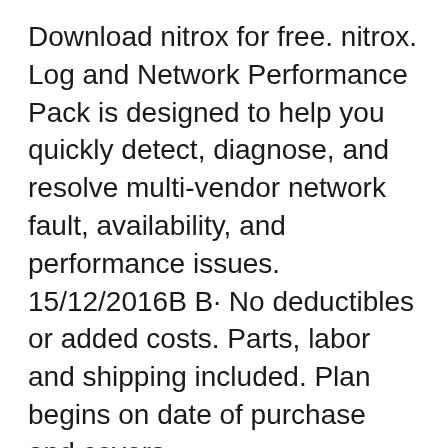Download nitrox for free. nitrox. Log and Network Performance Pack is designed to help you quickly detect, diagnose, and resolve multi-vendor network fault, availability, and performance issues. 15/12/2016B B· No deductibles or added costs. Parts, labor and shipping included. Plan begins on date of purchase and covers mechanical/electrical breakdowns not covered by the manufacturer.
06/04/2019B B· Download the installer in the files section. Keep in mind that this is still in development and can have bugs. How can I get help? Please first read the steps on our wiki. If that doesn't work, please ask our help chat